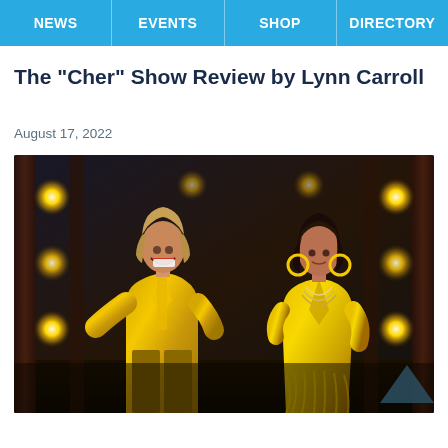NEWS | EVENTS | SHOP | DIRECTORY
The "Cher" Show Review by Lynn Carroll
August 17, 2022
[Figure (photo): Two performers on stage wearing gold/glittery outfits. The male performer on the left wears a gold sparkly suit with yellow shirt, laughing. The female performer on the right wears a gold dress with large hoop earrings and layered necklaces. Stage has circular spotlights in background.]